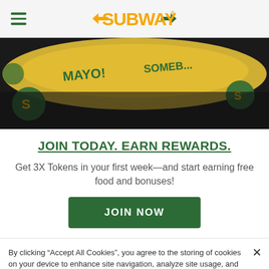SUBWAY (logo with hamburger menu)
[Figure (photo): Close-up photo of Subway sandwich wrappers and food items with green and yellow branding, on a dark background]
JOIN TODAY. EARN REWARDS.
Get 3X Tokens in your first week—and start earning free food and bonuses!
JOIN NOW
By clicking “Accept All Cookies”, you agree to the storing of cookies on your device to enhance site navigation, analyze site usage, and assist in our marketing efforts.
Cookies Settings | Accept All Cookies